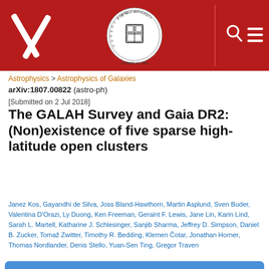[Figure (logo): arXiv and Cornell University header bar with arXiv scissors logo on left, Cornell University seal in center, and search/menu icons on right, all on a dark red background]
Astrophysics > Astrophysics of Galaxies
arXiv:1807.00822 (astro-ph)
[Submitted on 2 Jul 2018]
The GALAH Survey and Gaia DR2: (Non)existence of five sparse high-latitude open clusters
Janez Kos, Gayandhi de Silva, Joss Bland-Hawthorn, Martin Asplund, Sven Buder, Valentina D'Orazi, Ly Duong, Ken Freeman, Geraint F. Lewis, Jane Lin, Karin Lind, Sarah L. Martell, Katharine J. Schlesinger, Sanjib Sharma, Jeffrey D. Simpson, Daniel B. Zucker, Tomaž Zwitter, Timothy R. Bedding, Klemen Čotar, Jonathan Horner, Thomas Nordlander, Denis Stello, Yuan-Sen Ting, Gregor Traven
Download PDF
Sparse open clusters can be found at high galactic latitudes where loosely populated clusters are more easily detected against the lower stellar background. Because most star formation takes place in the